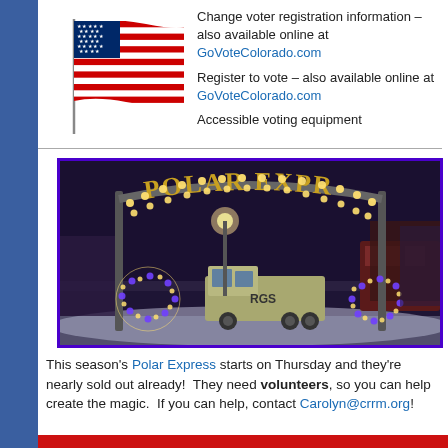[Figure (illustration): American flag waving on a pole, with red and white stripes and blue canton with stars]
Change voter registration information – also available online at GoVoteColorado.com
Register to vote – also available online at GoVoteColorado.com
Accessible voting equipment
[Figure (photo): Night photo of a Polar Express sign with lights, a truck labeled RGS, Christmas tree decorations with blue and white lights, and a train car in the background. The sign is decorated with round bulb lights.]
This season's Polar Express starts on Thursday and they're nearly sold out already! They need volunteers, so you can help create the magic. If you can help, contact Carolyn@crrm.org!